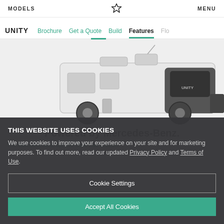MODELS | [logo] | MENU
UNITY  Brochure  Get a Quote  Build  Features  Flo...
[Figure (photo): White and black Unity Class B motorhome/RV (Mercedes-Benz Sprinter based) rendered at an angle, set against a light grey background.]
THIS WEBSITE USES COOKIES
We use cookies to improve your experience on your site and for marketing purposes. To find out more, read our updated Privacy Policy and Terms of Use.
Cookie Settings
Accept All Cookies
Powered by Mercedes-Benz.
The Mercedes-Benz Sprinter 3500 Cab Chassis